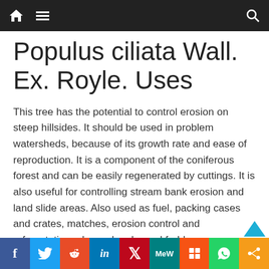Navigation bar with home, menu, and search icons
Populus ciliata Wall. Ex. Royle. Uses
This tree has the potential to control erosion on steep hillsides. It should be used in problem watersheds, because of its growth rate and ease of reproduction. It is a component of the coniferous forest and can be easily regenerated by cuttings. It is also useful for controlling stream bank erosion and land slide areas. Also used as fuel, packing cases and crates, matches, erosion control and reforestation, plywood, pulp, and fodder.
Social share bar: Facebook, Twitter, Reddit, LinkedIn, Pinterest, MeWe, Mix, WhatsApp, Share